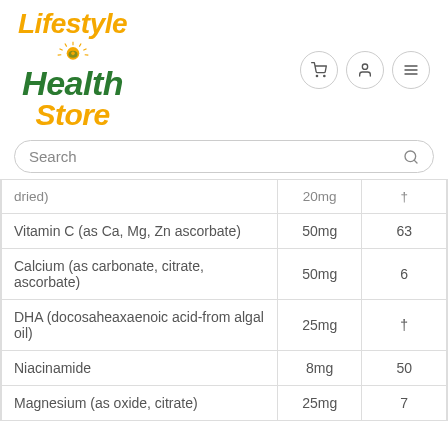[Figure (logo): Lifestyle Health Store logo with sun graphic in green and yellow/orange colors, with navigation icons (cart, user, menu) to the right]
[Figure (other): Search bar with placeholder text 'Search' and a magnifying glass icon]
| Ingredient | Amount | % |
| --- | --- | --- |
| dried) | 20mg | † |
| Vitamin C (as Ca, Mg, Zn ascorbate) | 50mg | 63 |
| Calcium (as carbonate, citrate, ascorbate) | 50mg | 6 |
| DHA (docosaheaxaenoic acid-from algal oil) | 25mg | † |
| Niacinamide | 8mg | 50 |
| Magnesium (as oxide, citrate) | 25mg | 7 |